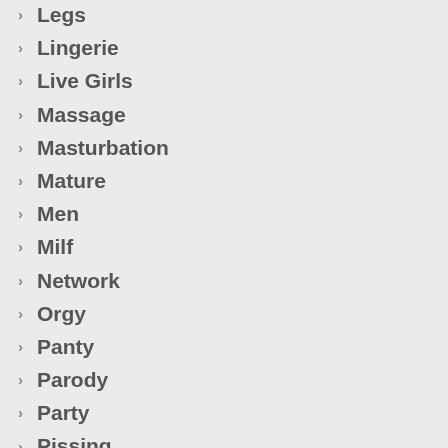Legs
Lingerie
Live Girls
Massage
Masturbation
Mature
Men
Milf
Network
Orgy
Panty
Parody
Party
Pissing
Pornstar
P...